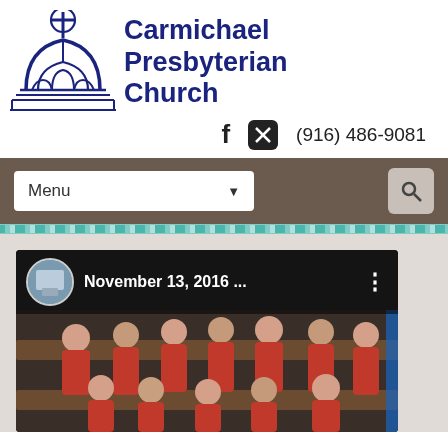[Figure (logo): Carmichael Presbyterian Church logo with church dome and cross illustration in blue]
Carmichael Presbyterian Church
f  X  (916) 486-9081
Menu
[Figure (screenshot): Video thumbnail showing choir members in red robes seated in church pews, with November 13, 2016 label overlay]